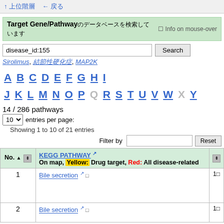↑ 上位階層 ← 戻る
Target Gene/Pathway のデータベースを検索しています ☐ Info on mouse-over
disease_id:155  Search
Sirolimus, 結節性硬化症, MAP2K
A B C D E F G H I J K L M N O P Q R S T U V W X Y
14 / 286 pathways
10 entries per page:
Showing 1 to 10 of 21 entries
Filter by  Reset
| No. ▲ | KEGG PATHWAY  On map, Yellow: Drug target, Red: All disease-related |  |
| --- | --- | --- |
| 1 | Bile secretion  □ | 1□ |
| 2 | Bile secretion  □ | 1□ |